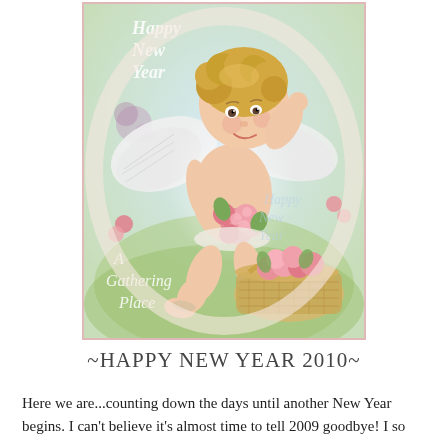[Figure (illustration): Vintage illustration of a cherub/angel child with blonde curly hair and white wings, sitting among pink roses with a wicker basket of roses, overlaid with text 'Happy New Year' and 'A Gathering Place']
~HAPPY NEW YEAR 2010~
Here we are...counting down the days until another New Year begins. I can't believe it's almost time to tell 2009 goodbye! I so